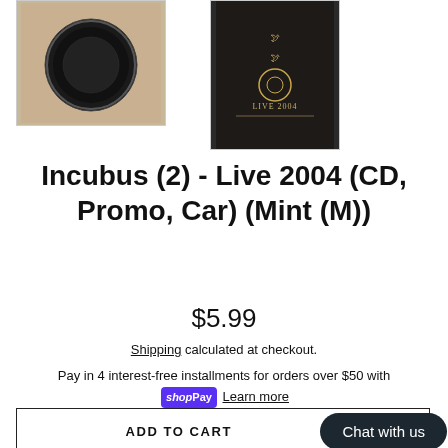[Figure (photo): Close-up photo of a CD disc, black with white center, on a light brown background]
[Figure (photo): Dark album cover with bird/dove design and text 'LIVE 2004', dark background]
Incubus (2) - Live 2004 (CD, Promo, Car) (Mint (M))
$5.99
Shipping calculated at checkout.
Pay in 4 interest-free installments for orders over $50 with shopPay Learn more
ADD TO CART
Chat with us